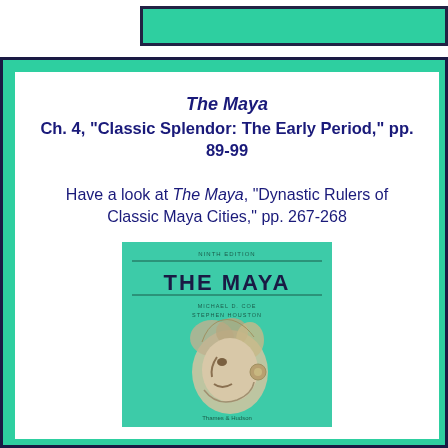The Maya Ch. 4, "Classic Splendor: The Early Period," pp. 89-99

Have a look at The Maya, "Dynastic Rulers of Classic Maya Cities," pp. 267-268
[Figure (photo): Book cover of 'The Maya' (ninth edition) by Michael D. Coe and Stephen Houston, published by Thames & Hudson. Teal/green cover with the title in bold serif font and an image of a Maya stone carving/relief of a profile face with elaborate headdress.]